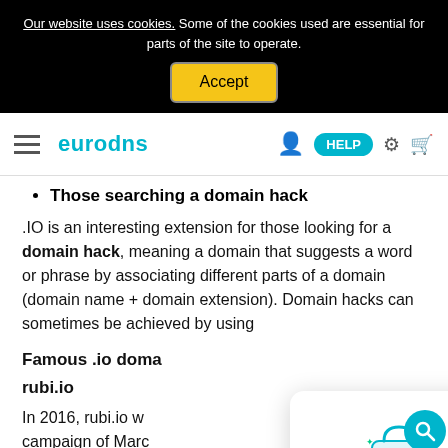Our website uses cookies. Some of the cookies used are essential for parts of the site to operate. [Accept button]
eurodns navigation bar with hamburger menu, logo, HELP button, gear icon, cart icon
Those searching a domain hack
.IO is an interesting extension for those looking for a domain hack, meaning a domain that suggests a word or phrase by associating different parts of a domain (domain name + domain extension). Domain hacks can sometimes be achieved by using
Famous .io doma
rubi.io
In 2016, rubi.io w campaign of Marc
[Figure (illustration): Flash Sale popup with shopping bag illustration, close button, title 'Our Flash Sale is on!', subtitle 'Up to 96% off storewide']